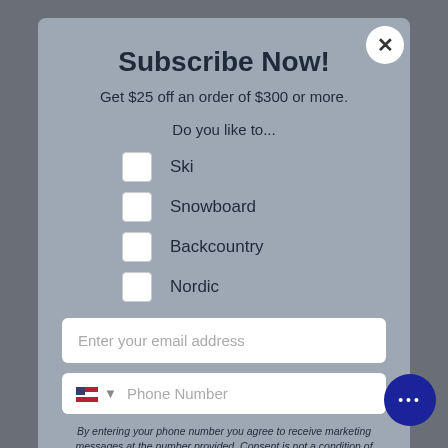Subscribe Now!
Get $25 off an order of $300 or more.
Do you like to...
Ski
Snowboard
Backcountry
Nordic
Enter your email address
Phone Number
By entering your phone number you agree to receive marketing messages at the number provided. Consent is not a condition of purchase. Message and data rates may apply. Message frequency varies. Reply HELP for help or STOP to stop. View our Privacy Policy.
Subscribe